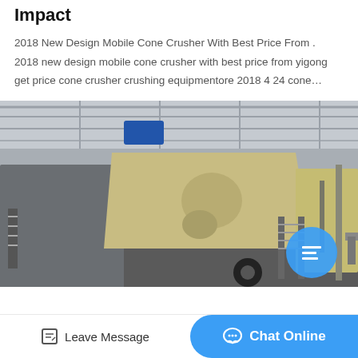Impact
2018 New Design Mobile Cone Crusher With Best Price From . 2018 new design mobile cone crusher with best price from yigong get price cone crusher crushing equipmentore 2018 4 24 cone…
[Figure (photo): Industrial mobile cone crusher machine photographed inside a large factory/warehouse. The machine is mounted on a truck chassis and features a large yellow-beige cone crusher unit on the left and a screening/vibrating unit on the right, with metal staircases and structural framework visible.]
Leave Message   Chat Online